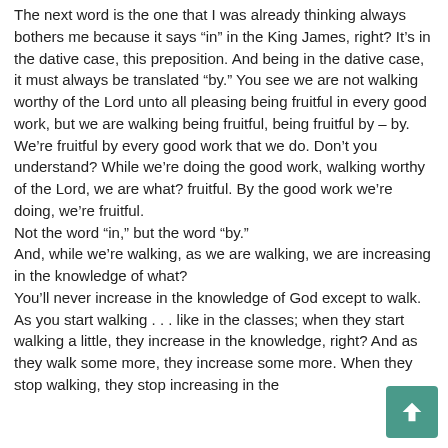The next word is the one that I was already thinking always bothers me because it says “in” in the King James, right? It’s in the dative case, this preposition. And being in the dative case, it must always be translated “by.” You see we are not walking worthy of the Lord unto all pleasing being fruitful in every good work, but we are walking being fruitful, being fruitful by – by. We’re fruitful by every good work that we do. Don’t you understand? While we’re doing the good work, walking worthy of the Lord, we are what? fruitful. By the good work we’re doing, we’re fruitful. Not the word “in,” but the word “by.” And, while we’re walking, as we are walking, we are increasing in the knowledge of what? You’ll never increase in the knowledge of God except to walk. As you start walking . . . like in the classes; when they start walking a little, they increase in the knowledge, right? And as they walk some more, they increase some more. When they stop walking, they stop increasing in the